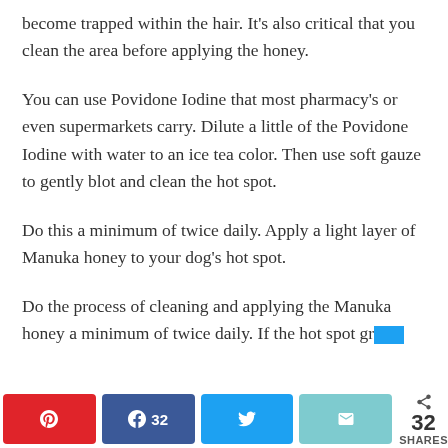become trapped within the hair. It's also critical that you clean the area before applying the honey.
You can use Povidone Iodine that most pharmacy's or even supermarkets carry. Dilute a little of the Povidone Iodine with water to an ice tea color. Then use soft gauze to gently blot and clean the hot spot.
Do this a minimum of twice daily. Apply a light layer of Manuka honey to your dog's hot spot.
Do the process of cleaning and applying the Manuka honey a minimum of twice daily. If the hot spot gr…